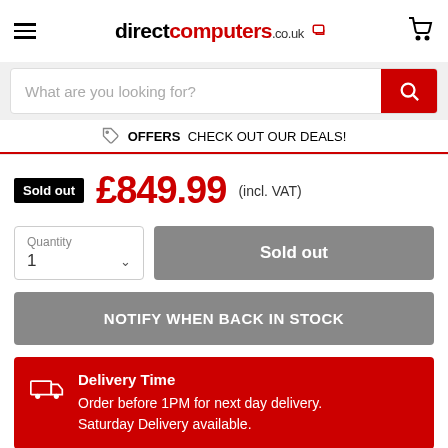directcomputers.co.uk
What are you looking for?
OFFERS  CHECK OUT OUR DEALS!
Sold out  £849.99 (incl. VAT)
Quantity 1  Sold out
NOTIFY WHEN BACK IN STOCK
Delivery Time
Order before 1PM for next day delivery.
Saturday Delivery available.